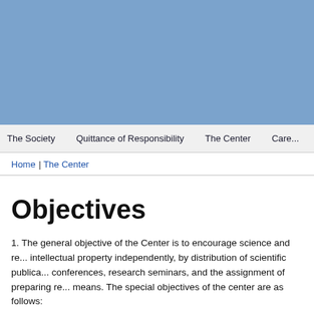[Figure (other): Blue header background banner at the top of the page]
The Society   Quittance of Responsibility   The Center   Careers
Home | The Center
Objectives
1. The general objective of the Center is to encourage science and re... intellectual property independently, by distribution of scientific publica... conferences, research seminars, and the assignment of preparing re... means. The special objectives of the center are as follows:
• Reinforcing awareness of the necessity to provide international prot... (including protection by industrial design and models) f...